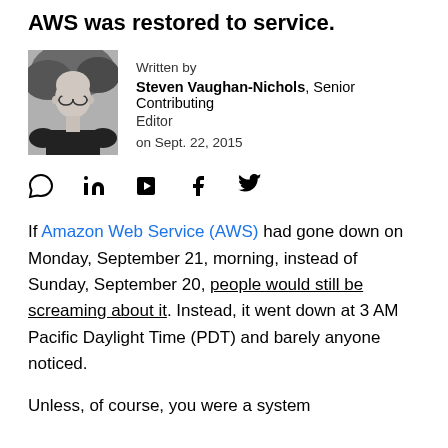AWS was restored to service.
[Figure (photo): Black and white headshot photo of Steven Vaughan-Nichols, a bald man with glasses wearing a black shirt, outdoors with trees in background.]
Written by
Steven Vaughan-Nichols, Senior Contributing Editor
on Sept. 22, 2015
[Figure (infographic): Social sharing icons row: comment bubble, LinkedIn, Flipboard, Facebook, Twitter]
If Amazon Web Service (AWS) had gone down on Monday, September 21, morning, instead of Sunday, September 20, people would still be screaming about it. Instead, it went down at 3 AM Pacific Daylight Time (PDT) and barely anyone noticed.
Unless, of course, you were a system